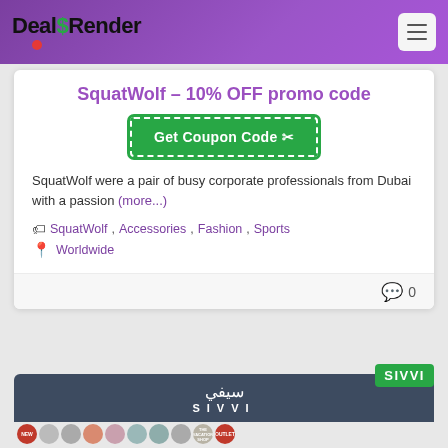Deal$Render
SquatWolf – 10% OFF promo code
[Figure (other): Get Coupon Code button with scissors icon, dashed border on green background]
SquatWolf were a pair of busy corporate professionals from Dubai with a passion (more...)
SquatWolf, Accessories, Fashion, Sports
Worldwide
0
[Figure (logo): SIVVI logo with Arabic text and SIVVI in Latin letters on dark blue background, with SIVVI green badge, and category circles strip at bottom]